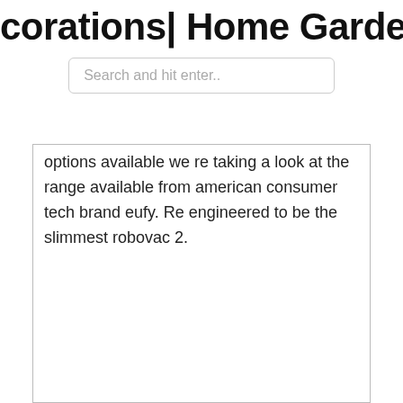corations| Home Garden | Home Fa
Search and hit enter..
options available we re taking a look at the range available from american consumer tech brand eufy. Re engineered to be the slimmest robovac 2.